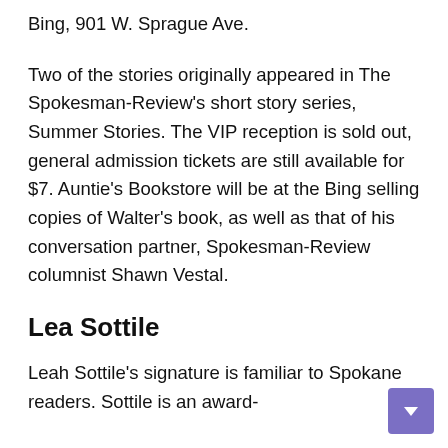Bing, 901 W. Sprague Ave.
Two of the stories originally appeared in The Spokesman-Review's short story series, Summer Stories. The VIP reception is sold out, general admission tickets are still available for $7. Auntie's Bookstore will be at the Bing selling copies of Walter's book, as well as that of his conversation partner, Spokesman-Review columnist Shawn Vestal.
Lea Sottile
Leah Sottile's signature is familiar to Spokane readers. Sottile is an award-